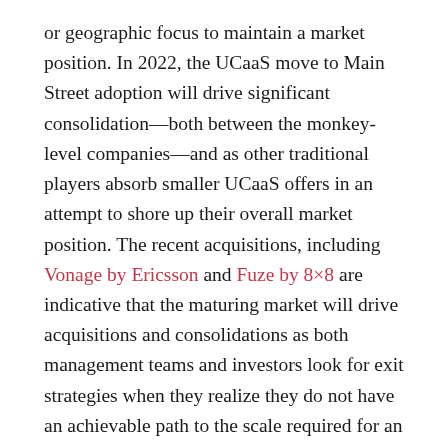or geographic focus to maintain a market position. In 2022, the UCaaS move to Main Street adoption will drive significant consolidation—both between the monkey-level companies—and as other traditional players absorb smaller UCaaS offers in an attempt to shore up their overall market position. The recent acquisitions, including Vonage by Ericsson and Fuze by 8×8 are indicative that the maturing market will drive acquisitions and consolidations as both management teams and investors look for exit strategies when they realize they do not have an achievable path to the scale required for an IPO.
The acquisition of Vonage by Ericsson is a clear example of how companies get acquired in a maturing industry. Ericson needs a cloud solution for businesses to maintain leadership and compete for